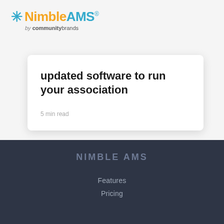[Figure (logo): NimbleAMS by communitybrands logo with teal asterisk, orange Nimble, teal AMS text]
updated software to run your association
5 min read
NIMBLE AMS
Features
Pricing